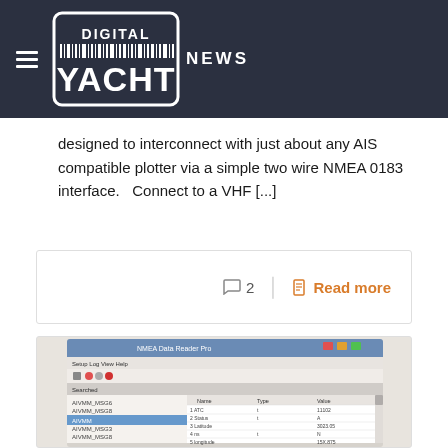DIGITAL YACHT NEWS
designed to interconnect with just about any AIS compatible plotter via a simple two wire NMEA 0183 interface.   Connect to a VHF [...]
2   Read more
[Figure (screenshot): Screenshot of NMEA data parsing software showing a list of device names on the left and parsed NMEA data fields on the right, with raw NMEA sentences shown at the bottom.]